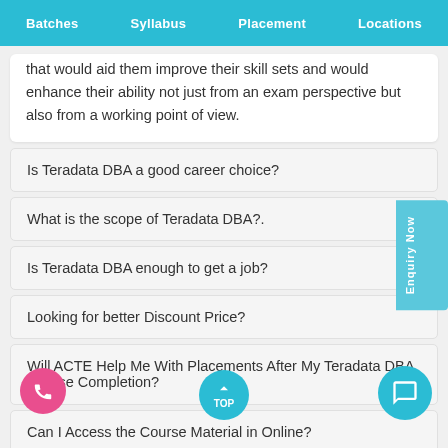Batches  Syllabus  Placement  Locations
that would aid them improve their skill sets and would enhance their ability not just from an exam perspective but also from a working point of view.
Is Teradata DBA a good career choice?
What is the scope of Teradata DBA?.
Is Teradata DBA enough to get a job?
Looking for better Discount Price?
Will ACTE Help Me With Placements After My Teradata DBA Course Completion?
Can I Access the Course Material in Online?